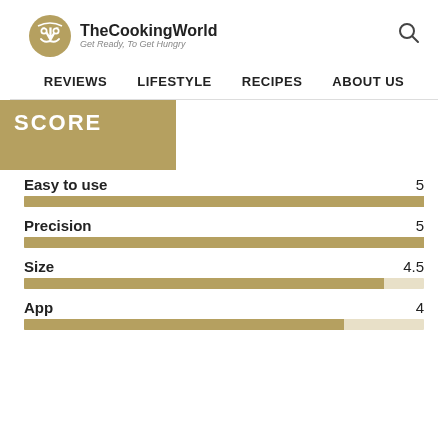TheCookingWorld — Get Ready, To Get Hungry | REVIEWS | LIFESTYLE | RECIPES | ABOUT US
SCORE
[Figure (bar-chart): Score ratings]